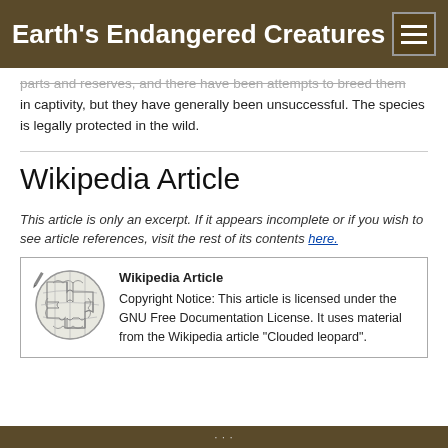Earth's Endangered Creatures
parts and reserves, and there have been attempts to breed them in captivity, but they have generally been unsuccessful. The species is legally protected in the wild.
Wikipedia Article
This article is only an excerpt. If it appears incomplete or if you wish to see article references, visit the rest of its contents here.
Wikipedia Article
Copyright Notice: This article is licensed under the GNU Free Documentation License. It uses material from the Wikipedia article "Clouded leopard".